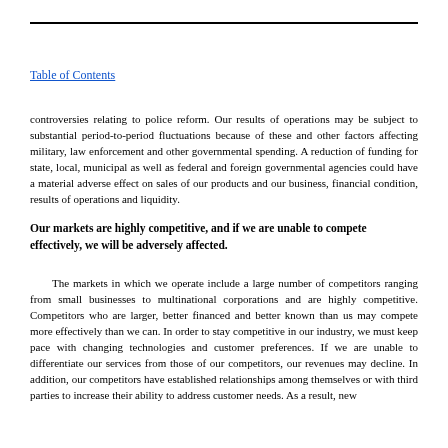Table of Contents
controversies relating to police reform. Our results of operations may be subject to substantial period-to-period fluctuations because of these and other factors affecting military, law enforcement and other governmental spending. A reduction of funding for state, local, municipal as well as federal and foreign governmental agencies could have a material adverse effect on sales of our products and our business, financial condition, results of operations and liquidity.
Our markets are highly competitive, and if we are unable to compete effectively, we will be adversely affected.
The markets in which we operate include a large number of competitors ranging from small businesses to multinational corporations and are highly competitive. Competitors who are larger, better financed and better known than us may compete more effectively than we can. In order to stay competitive in our industry, we must keep pace with changing technologies and customer preferences. If we are unable to differentiate our services from those of our competitors, our revenues may decline. In addition, our competitors have established relationships among themselves or with third parties to increase their ability to address customer needs. As a result, new